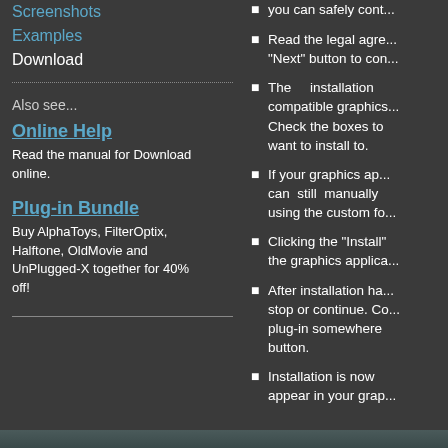Screenshots
Examples
Download
Also see...
Online Help
Read the manual for Download online.
Plug-in Bundle
Buy AlphaToys, FilterOptix, Halftone, OldMovie and UnPlugged-X together for 40% off!
Read the legal agre... "Next" button to con...
The installation compatible graphics... Check the boxes to want to install to.
If your graphics ap... can still manually using the custom fo...
Clicking the "Install" the graphics applica...
After installation ha... stop or continue. Co... plug-in somewhere button.
Installation is now appear in your grap...